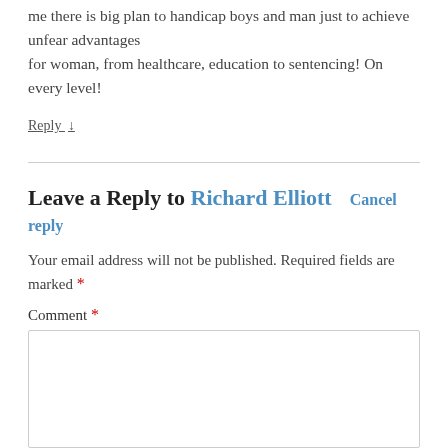me there is big plan to handicap boys and man just to achieve unfear advantages for woman, from healthcare, education to sentencing! On every level!
Reply ↓
Leave a Reply to Richard Elliott   Cancel reply
Your email address will not be published. Required fields are marked *
Comment *